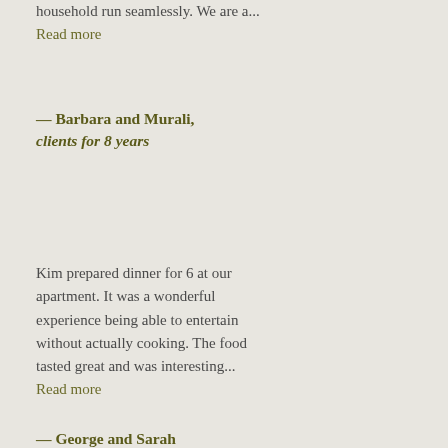household run seamlessly. We are a... Read more
— Barbara and Murali, clients for 8 years
— Adrienne, attendee– Global One-Pot Dinners Class, November 13, 2019
Kim prepared dinner for 6 at our apartment. It was a wonderful experience being able to entertain without actually cooking. The food tasted great and was interesting... Read more
— George and Sarah